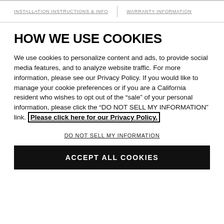INSTALLATION INSTRUCTIONS & INFO | WARRANTY INFORMATION
HOW WE USE COOKIES
We use cookies to personalize content and ads, to provide social media features, and to analyze website traffic. For more information, please see our Privacy Policy. If you would like to manage your cookie preferences or if you are a California resident who wishes to opt out of the "sale" of your personal information, please click the "DO NOT SELL MY INFORMATION" link. Please click here for our Privacy Policy.
DO NOT SELL MY INFORMATION
ACCEPT ALL COOKIES